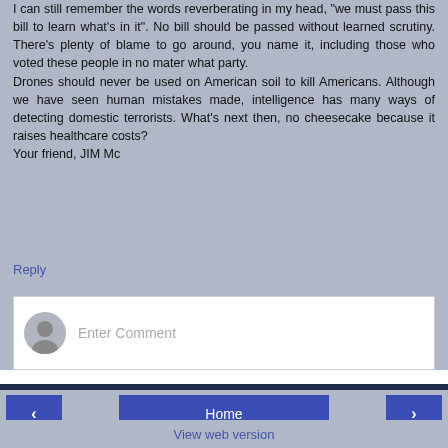I can still remember the words reverberating in my head, "we must pass this bill to learn what's in it". No bill should be passed without learned scrutiny. There's plenty of blame to go around, you name it, including those who voted these people in no mater what party.
Drones should never be used on American soil to kill Americans. Although we have seen human mistakes made, intelligence has many ways of detecting domestic terrorists. What's next then, no cheesecake because it raises healthcare costs?
Your friend, JIM Mc
Reply
[Figure (other): Comment input box with avatar placeholder and 'Enter Comment' placeholder text]
Home
View web version